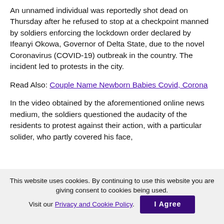An unnamed individual was reportedly shot dead on Thursday after he refused to stop at a checkpoint manned by soldiers enforcing the lockdown order declared by Ifeanyi Okowa, Governor of Delta State, due to the novel Coronavirus (COVID-19) outbreak in the country. The incident led to protests in the city.
Read Also: Couple Name Newborn Babies Covid, Corona
In the video obtained by the aforementioned online news medium, the soldiers questioned the audacity of the residents to protest against their action, with a particular solider, who partly covered his face,
This website uses cookies. By continuing to use this website you are giving consent to cookies being used. Visit our Privacy and Cookie Policy.